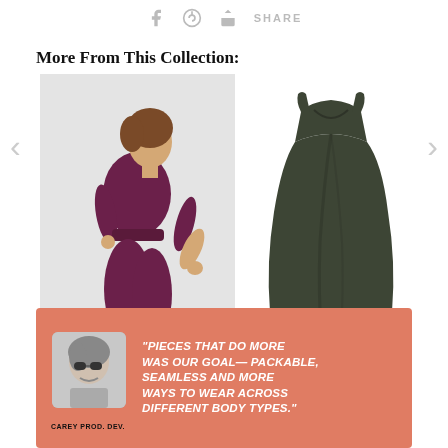f  Ⓟ  ➤ SHARE
More From This Collection:
[Figure (photo): Woman wearing a purple/burgundy sleeveless cropped jumpsuit with sandals, smiling, walking pose against light background]
[Figure (photo): Dark olive/green sleeveless A-line midi dress product shot on white background]
[Figure (photo): Salmon/coral banner with black-and-white portrait photo of a woman with sunglasses and quote text: "PIECES THAT DO MORE WAS OUR GOAL– PACKABLE, SEAMLESS AND MORE WAYS TO WEAR ACROSS DIFFERENT BODY TYPES." with caption CAREY PROD. DEV.]